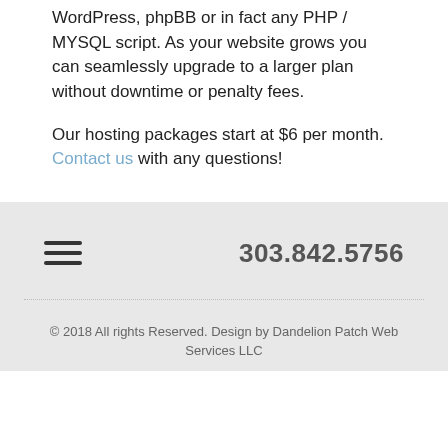WordPress, phpBB or in fact any PHP / MYSQL script. As your website grows you can seamlessly upgrade to a larger plan without downtime or penalty fees.
Our hosting packages start at $6 per month. Contact us with any questions!
303.842.5756
© 2018 All rights Reserved. Design by Dandelion Patch Web Services LLC